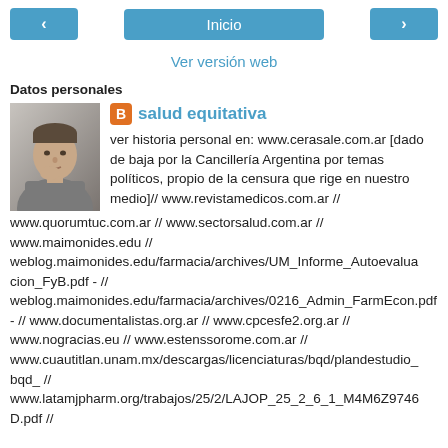< Inicio >
Ver versión web
Datos personales
[Figure (photo): Profile photo of a man in a grey suit, resting his chin on his hand]
salud equitativa
ver historia personal en: www.cerasale.com.ar [dado de baja por la Cancillería Argentina por temas políticos, propio de la censura que rige en nuestro medio]// www.revistamedicos.com.ar // www.quorumtuc.com.ar // www.sectorsalud.com.ar // www.maimonides.edu // weblog.maimonides.edu/farmacia/archives/UM_Informe_Autoevaluacion_FyB.pdf - // weblog.maimonides.edu/farmacia/archives/0216_Admin_FarmEcon.pdf - // www.documentalistas.org.ar // www.cpcesfe2.org.ar // www.nogracias.eu // www.estenssorome.com.ar // www.cuautitlan.unam.mx/descargas/licenciaturas/bqd/plandestudio_bqd_ // www.latamjpharm.org/trabajos/25/2/LAJOP_25_2_6_1_M4M6Z9746D.pdf //